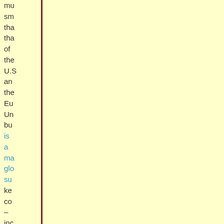mu sm tha tha of the U.S an the Eu Un bu is a ma glo su key co – inc no jus